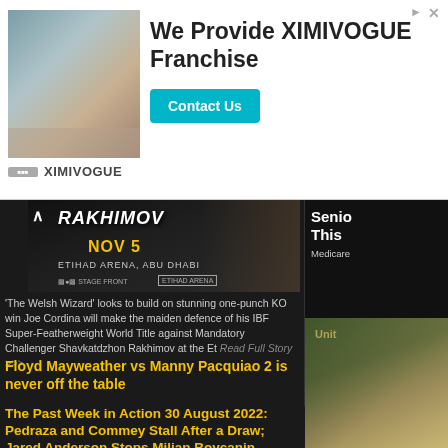[Figure (advertisement): XIMIVOGUE franchise advertisement banner with store image, headline text, and Contact Us button]
[Figure (photo): Boxing promotional image for RAKHIMOV fight, NOV 5, ETIHAD ARENA, ABU DHABI]
'The Welsh Wizard' looks to build on stunning one-punch KO win Joe Cordina will make the maiden defence of his IBF Super-Featherweight World Title against Mandatory Challenger Shavkatdzhon Rakhimov at the Et  Read Full Story >>>
Floyd Mayweather vs Manny Pacquiao 2 is never off the table
By Phil D. Jay, World Boxing News, Wed, 31 Aug 2022
Talk of Floyd Mayweather fighting Manny Pacquiao won't go away. Even seven years later, column inches still get taken up by the rumors. The pair initially fought in May 2015 in a dire affair slated as being delayed too long. Mayweather came out on top against a reportedly injured Pacquiao.   Read Full Story >>>
The Past Week in Action 30 August 2022: Pedraza and Commey Stall After a Draw; Jared Anderson Stops Milian Boycanin
[Figure (photo): Senior Medicare related image on right column]
[Figure (photo): Currency/money related image on right column bottom]